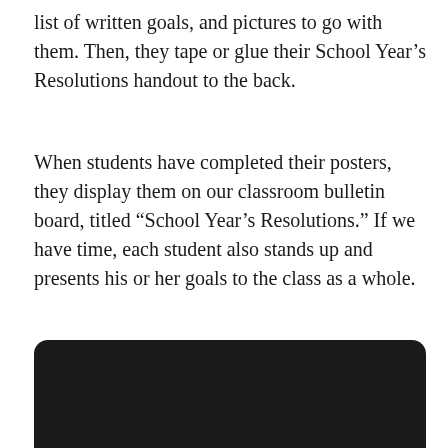list of written goals, and pictures to go with them. Then, they tape or glue their School Year's Resolutions handout to the back.
When students have completed their posters, they display them on our classroom bulletin board, titled “School Year’s Resolutions.” If we have time, each student also stands up and presents his or her goals to the class as a whole.
[Figure (photo): A dark/black image, likely a photo that is very underexposed or a placeholder image with a dark background and rounded top corners.]